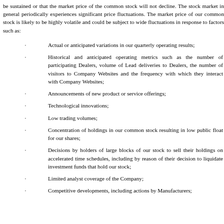be sustained or that the market price of the common stock will not decline. The stock market in general periodically experiences significant price fluctuations. The market price of our common stock is likely to be highly volatile and could be subject to wide fluctuations in response to factors such as:
Actual or anticipated variations in our quarterly operating results;
Historical and anticipated operating metrics such as the number of participating Dealers, volume of Lead deliveries to Dealers, the number of visitors to Company Websites and the frequency with which they interact with Company Websites;
Announcements of new product or service offerings;
Technological innovations;
Low trading volumes;
Concentration of holdings in our common stock resulting in low public float for our shares;
Decisions by holders of large blocks of our stock to sell their holdings on accelerated time schedules, including by reason of their decision to liquidate investment funds that hold our stock;
Limited analyst coverage of the Company;
Competitive developments, including actions by Manufacturers;